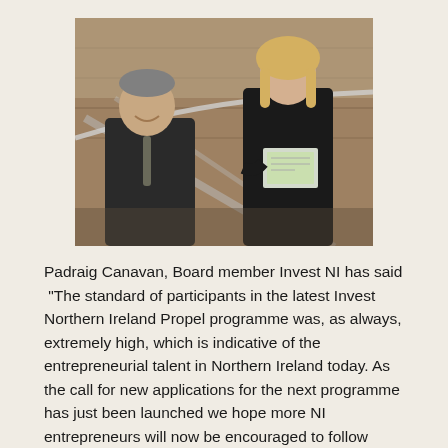[Figure (photo): Two people standing on a staircase with glass railings. A man in a dark suit on the left and a woman in a black top on the right holding a document or tablet, in what appears to be a modern office building interior.]
Padraig Canavan, Board member Invest NI has said “The standard of participants in the latest Invest Northern Ireland Propel programme was, as always, extremely high, which is indicative of the entrepreneurial talent in Northern Ireland today. As the call for new applications for the next programme has just been launched we hope more NI entrepreneurs will now be encouraged to follow Neurovalens lead,"
Applications are open for the next...